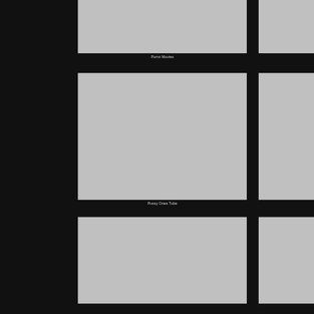[Figure (screenshot): Gray thumbnail placeholder image, cropped at top]
Pornz Movies
[Figure (screenshot): Gray thumbnail placeholder image]
Pussy Ones Tube
[Figure (screenshot): Gray thumbnail placeholder image, cropped at bottom]
[Figure (screenshot): Gray partial thumbnail on right side, cropped at top]
[Figure (screenshot): Gray partial thumbnail on right side]
[Figure (screenshot): Gray partial thumbnail on right side, cropped at bottom]